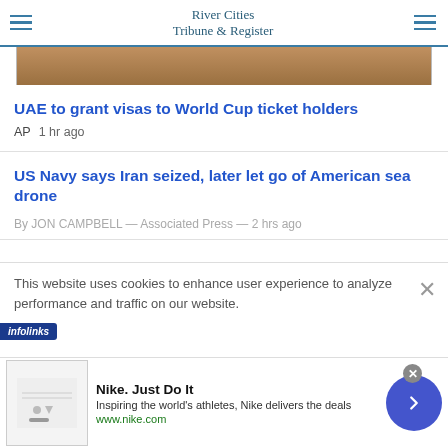River Cities Tribune & Register
[Figure (photo): Partial view of a horse racing track photo, cropped at top]
UAE to grant visas to World Cup ticket holders
AP  1 hr ago
US Navy says Iran seized, later let go of American sea drone
By JON CAMPBELL — Associated Press — 2 hrs ago
This website uses cookies to enhance user experience to analyze performance and traffic on our website.
[Figure (screenshot): Nike advertisement: Nike. Just Do It. Inspiring the world's athletes, Nike delivers the deals. www.nike.com]